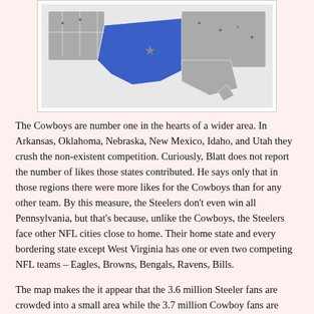[Figure (map): A map of the United States showing NFL team fan regions, with the Dallas Cowboys region highlighted in blue covering Texas and surrounding states. Other states shown in gray with team logos.]
The Cowboys are number one in the hearts of a wider area.  In Arkansas, Oklahoma, Nebraska, New Mexico, Idaho, and Utah they crush the non-existent competition.  Curiously, Blatt does not report the number of likes those states contributed. He says only that in those regions there were more likes for the Cowboys than for any other team.  By this measure, the Steelers don't even win all Pennsylvania, but that's because, unlike the Cowboys, the Steelers  face other NFL cities close to home.  Their home state and every bordering state except West Virginia has one or even two competing NFL teams – Eagles, Browns, Bengals, Ravens, Bills.
The map makes the it appear that the 3.6 million Steeler fans are crowded into a small area while the 3.7 million Cowboy fans are widely spread.  But those wide open Western spaces may not contain all that many people.  And it's fans, not real estate, that root for a team.